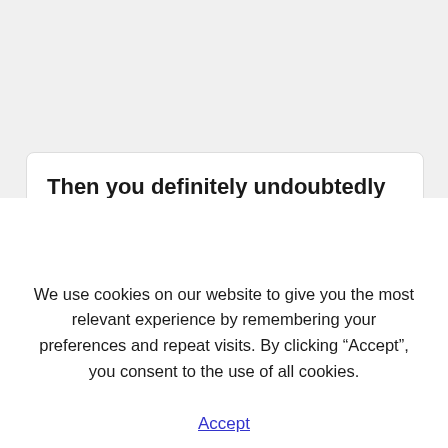Then you definitely undoubtedly will love
We use cookies on our website to give you the most relevant experience by remembering your preferences and repeat visits. By clicking “Accept”, you consent to the use of all cookies.
Accept
use of good stuff on your own when you’re looking to get cool things occurring on your own.For more information on Minecraft Mods, be sure to follow the hyperlink within